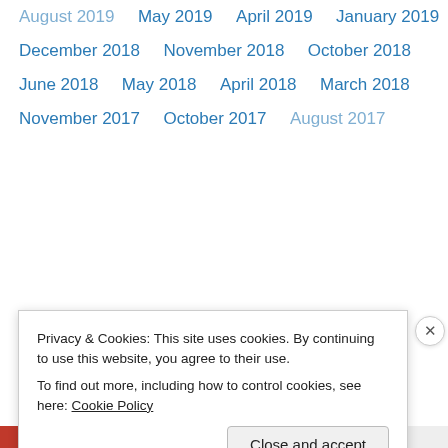August 2019
May 2019
April 2019
January 2019
December 2018
November 2018
October 2018
June 2018
May 2018
April 2018
March 2018
November 2017
October 2017
August 2017
Privacy & Cookies: This site uses cookies. By continuing to use this website, you agree to their use.
To find out more, including how to control cookies, see here: Cookie Policy